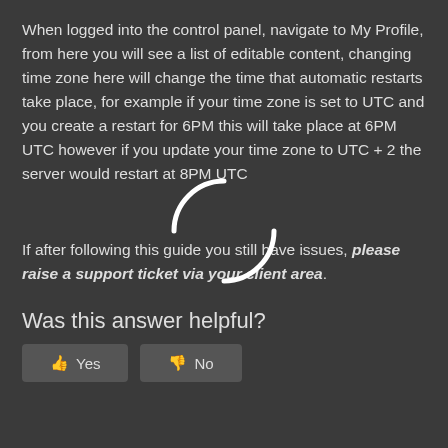When logged into the control panel, navigate to My Profile, from here you will see a list of editable content, changing time zone here will change the time that automatic restarts take place, for example if your time zone is set to UTC and you create a restart for 6PM this will take place at 6PM UTC however if you update your time zone to UTC + 2 the server would restart at 8PM UTC
If after following this guide you still have issues, please raise a support ticket via your client area.
Was this answer helpful?